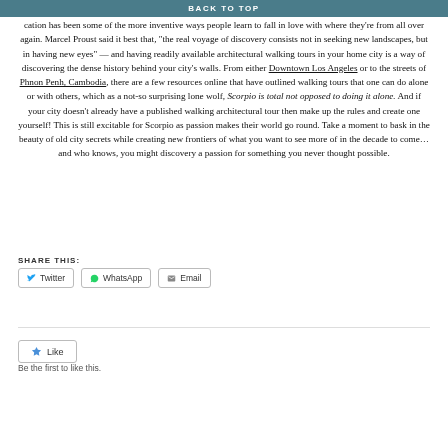BACK TO TOP
cation has been some of the more inventive ways people learn to fall in love with where they're from all over again. Marcel Proust said it best that, "the real voyage of discovery consists not in seeking new landscapes, but in having new eyes" — and having readily available architectural walking tours in your home city is a way of discovering the dense history behind your city's walls. From either Downtown Los Angeles or to the streets of Phnon Penh, Cambodia, there are a few resources online that have outlined walking tours that one can do alone or with others, which as a not-so surprising lone wolf, Scorpio is total not opposed to doing it alone. And if your city doesn't already have a published walking architectural tour then make up the rules and create one yourself! This is still excitable for Scorpio as passion makes their world go round. Take a moment to bask in the beauty of old city secrets while creating new frontiers of what you want to see more of in the decade to come… and who knows, you might discovery a passion for something you never thought possible.
SHARE THIS:
Twitter
WhatsApp
Email
Like
Be the first to like this.